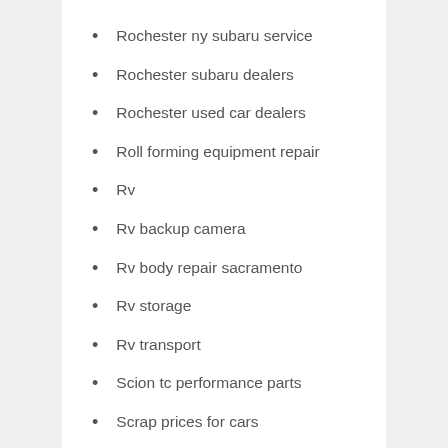Rochester ny subaru service
Rochester subaru dealers
Rochester used car dealers
Roll forming equipment repair
Rv
Rv backup camera
Rv body repair sacramento
Rv storage
Rv transport
Scion tc performance parts
Scrap prices for cars